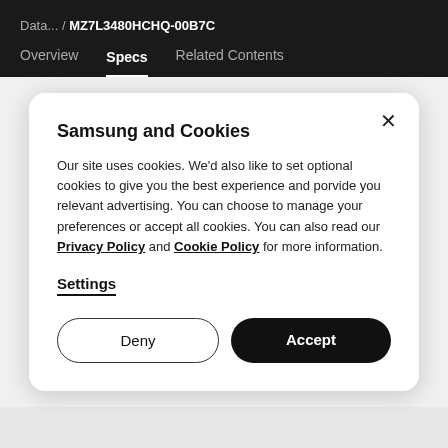Data... / MZ7L3480HCHQ-00B7C
Overview  Specs  Related Contents
Samsung and Cookies
Our site uses cookies. We'd also like to set optional cookies to give you the best experience and porvide you relevant advertising. You can choose to manage your preferences or accept all cookies. You can also read our Privacy Policy and Cookie Policy for more information.
Settings
Deny
Accept